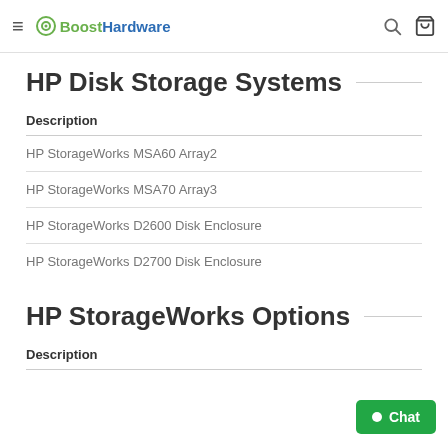Boost Hardware navigation header
HP Disk Storage Systems
| Description |
| --- |
| HP StorageWorks MSA60 Array2 |
| HP StorageWorks MSA70 Array3 |
| HP StorageWorks D2600 Disk Enclosure |
| HP StorageWorks D2700 Disk Enclosure |
HP StorageWorks Options
| Description |
| --- |